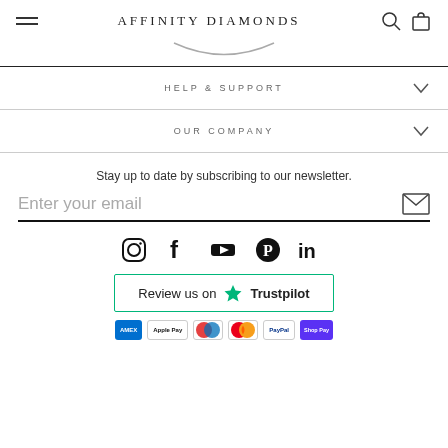AFFINITY DIAMONDS
HELP & SUPPORT
OUR COMPANY
Stay up to date by subscribing to our newsletter.
Enter your email
[Figure (infographic): Social media icons: Instagram, Facebook, YouTube, Pinterest, LinkedIn]
[Figure (logo): Review us on Trustpilot badge with green star]
[Figure (infographic): Payment method icons: American Express, Apple Pay, Maestro, Mastercard, PayPal, Shop Pay]